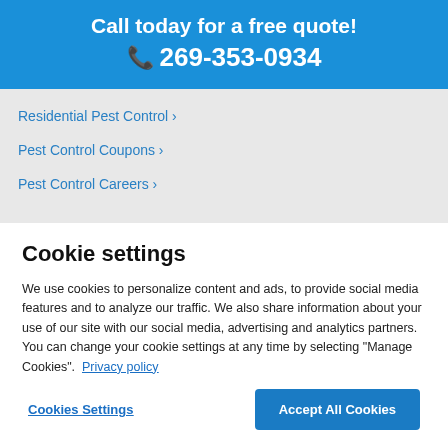Call today for a free quote!
📞 269-353-0934
Residential Pest Control ›
Pest Control Coupons ›
Pest Control Careers ›
Cookie settings
We use cookies to personalize content and ads, to provide social media features and to analyze our traffic. We also share information about your use of our site with our social media, advertising and analytics partners. You can change your cookie settings at any time by selecting "Manage Cookies".  Privacy policy
Cookies Settings    Accept All Cookies